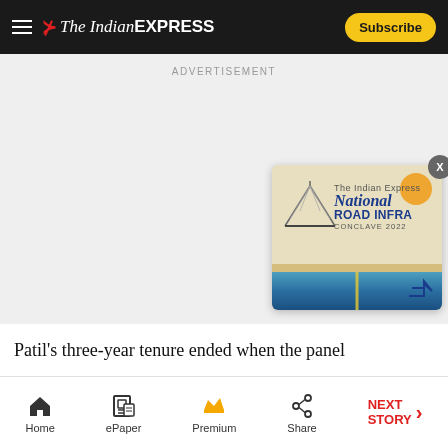The Indian EXPRESS
ADVERTISEMENT
[Figure (screenshot): National Road Infra Conclave 2022 advertisement popup with bridge and road imagery on beige background]
Patil's three-year tenure ended when the panel
Home | ePaper | Premium | Share | NEXT STORY